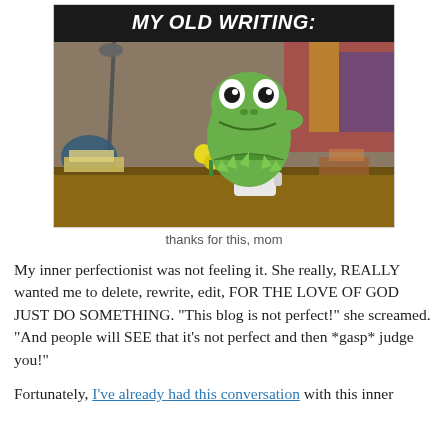[Figure (photo): Meme card with black header reading 'MY OLD WRITING:' and a photo of Kermit the Frog seated at a desk with a mug labeled 'kerm', yellow flowers, and cluttered background.]
thanks for this, mom
My inner perfectionist was not feeling it. She really, REALLY wanted me to delete, rewrite, edit, FOR THE LOVE OF GOD JUST DO SOMETHING. "This blog is not perfect!" she screamed. "And people will SEE that it's not perfect and then *gasp* judge you!"
Fortunately, I've already had this conversation with this inner